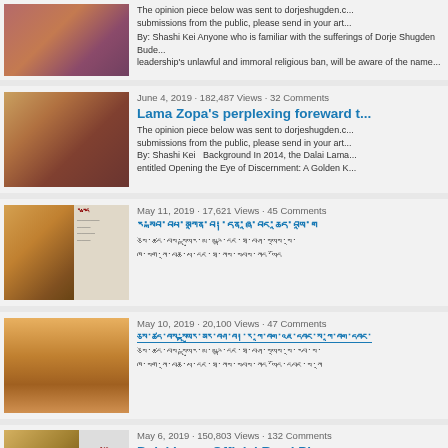[Figure (photo): Partial article thumbnail showing robed figures]
The opinion piece below was sent to dorjeshugden.c... submissions from the public, please send in your art...
By: Shashi Kei Anyone who is familiar with the sufferings of Dorje Shugden Bude... leadership's unlawful and immoral religious ban, will be aware of the name...
June 4, 2019 · 182,487 Views · 32 Comments
Lama Zopa's perplexing foreward t...
The opinion piece below was sent to dorjeshugden.c... submissions from the public, please send in your art... By: Shashi Kei  Background In 2014, the Dalai Lama... entitled Opening the Eye of Discernment: A Golden K...
May 11, 2019 · 17,621 Views · 45 Comments
[Tibetan script article title]
[Tibetan script excerpt lines]
May 10, 2019 · 20,100 Views · 47 Comments
[Tibetan script article title - underlined link]
[Tibetan script excerpt lines]
May 6, 2019 · 150,803 Views · 132 Comments
Dalai Lama Official Read Ple...